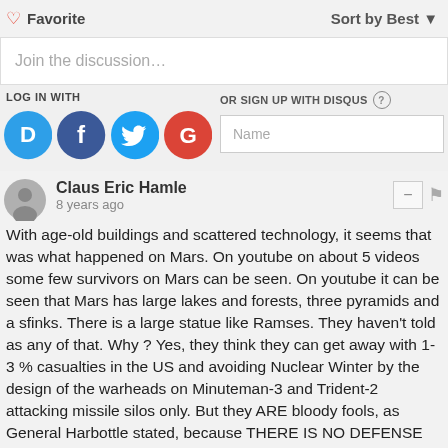Favorite  |  Sort by Best
Join the discussion…
LOG IN WITH
OR SIGN UP WITH DISQUS
[Figure (infographic): Social login icons: Disqus (blue), Facebook (dark blue), Twitter (light blue), Google (red)]
Name
Claus Eric Hamle
8 years ago
With age-old buildings and scattered technology, it seems that was what happened on Mars. On youtube on about 5 videos some few survivors on Mars can be seen. On youtube it can be seen that Mars has large lakes and forests, three pyramids and a sfinks. There is a large statue like Ramses. They haven&#039t told as any of that. Why ? Yes, they think they can get away with 1-3 % casualties in the US and avoiding Nuclear Winter by the design of the warheads on Minuteman-3 and Trident-2 attacking missile silos only. But they ARE bloody fools, as General Harbottle stated, because THERE IS NO DEFENSE AGAINST LAUNCH ON